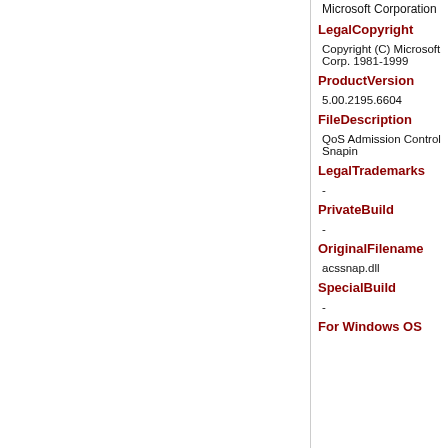Microsoft Corporation
LegalCopyright
Copyright (C) Microsoft Corp. 1981-1999
ProductVersion
5.00.2195.6604
FileDescription
QoS Admission Control Snapin
LegalTrademarks
-
PrivateBuild
-
OriginalFilename
acssnap.dll
SpecialBuild
-
For Windows OS